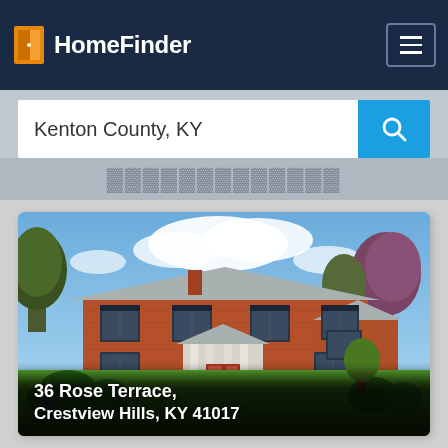[Figure (logo): HomeFinder logo with orange door icon and white text on dark navy background, with hamburger menu button on right]
Kenton County, KY
[Figure (photo): Two-story red brick colonial house with white portico columns, black shutters, manicured lawn and trees, blue sky with clouds. Address overlay: 36 Rose Terrace, Crestview Hills, KY 41017]